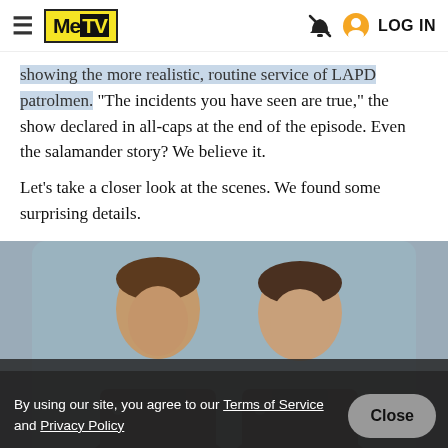MeTV | LOG IN
showing the more realistic, routine service of LAPD patrolmen. "The incidents you have seen are true," the show declared in all-caps at the end of the episode. Even the salamander story? We believe it.
Let's take a closer look at the scenes. We found some surprising details.
[Figure (photo): Two male actors dressed as LAPD officers in dark uniforms, photographed from approximately chest up, against a light blue-grey background. A semi-transparent dark cookie consent banner overlays the lower portion of the image.]
By using our site, you agree to our Terms of Service and Privacy Policy
Close